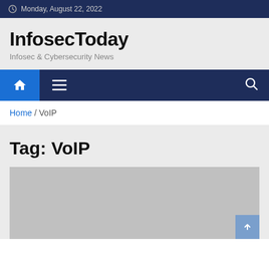Monday, August 22, 2022
InfosecToday
Infosec & Cybersecurity News
Home / VoIP
Tag: VoIP
[Figure (photo): Gray image placeholder with scroll-to-top button overlay]